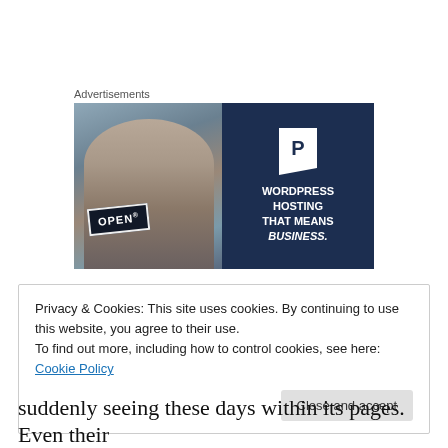Advertisements
[Figure (illustration): Advertisement banner for WordPress hosting showing a woman flipping an OPEN sign on the left (photo) and dark navy blue panel on the right with a P logo and text: WORDPRESS HOSTING THAT MEANS BUSINESS.]
Privacy & Cookies: This site uses cookies. By continuing to use this website, you agree to their use.
To find out more, including how to control cookies, see here: Cookie Policy
[Close and accept button]
suddenly seeing these days within its pages. Even their